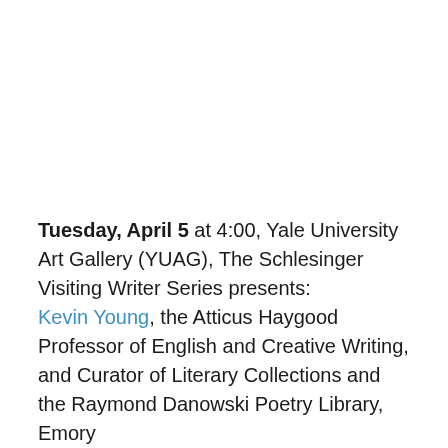Tuesday, April 5 at 4:00, Yale University Art Gallery (YUAG), The Schlesinger Visiting Writer Series presents: Kevin Young, the Atticus Haygood Professor of English and Creative Writing, and Curator of Literary Collections and the Raymond Danowski Poetry Library, Emory